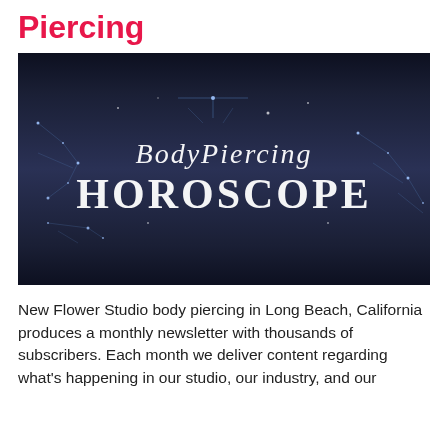Piercing
[Figure (illustration): Banner image with dark blue/navy background showing zodiac constellation illustrations and the text 'BodyPiercing HOROSCOPE' in white stylized lettering]
New Flower Studio body piercing in Long Beach, California produces a monthly newsletter with thousands of subscribers. Each month we deliver content regarding what's happening in our studio, our industry, and our